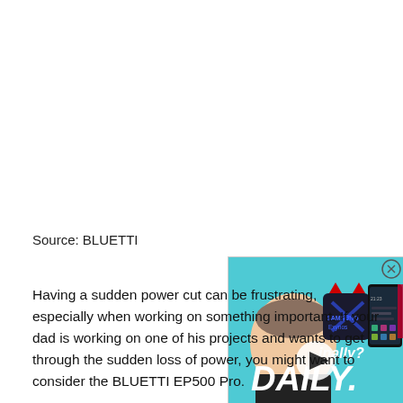Source: BLUETTI
[Figure (screenshot): Video thumbnail overlay showing a tech YouTuber with Samsung Exynos chip graphic, a smartphone screen, and Snapdragon logo, with a play button in the center and text 'DAILY.' A close (X) button appears in the top right corner.]
Having a sudden power cut can be frustrating, especially when working on something important. If your dad is working on one of his projects and wants to get through the sudden loss of power, you might want to consider the BLUETTI EP500 Pro.